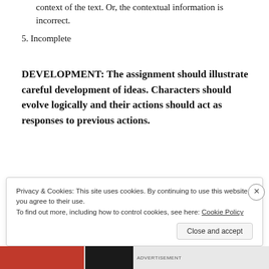context of the text. Or, the contextual information is incorrect.
5. Incomplete
DEVELOPMENT: The assignment should illustrate careful development of ideas. Characters should evolve logically and their actions should act as responses to previous actions.
Privacy & Cookies: This site uses cookies. By continuing to use this website, you agree to their use.
To find out more, including how to control cookies, see here: Cookie Policy
Close and accept